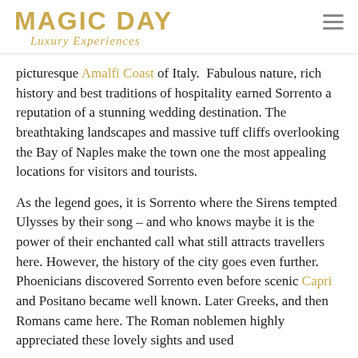MAGIC DAY Luxury Experiences
picturesque Amalfi Coast of Italy.  Fabulous nature, rich history and best traditions of hospitality earned Sorrento a reputation of a stunning wedding destination. The breathtaking landscapes and massive tuff cliffs overlooking the Bay of Naples make the town one the most appealing locations for visitors and tourists.
As the legend goes, it is Sorrento where the Sirens tempted Ulysses by their song – and who knows maybe it is the power of their enchanted call what still attracts travellers here. However, the history of the city goes even further. Phoenicians discovered Sorrento even before scenic Capri and Positano became well known. Later Greeks, and then Romans came here. The Roman noblemen highly appreciated these lovely sights and used